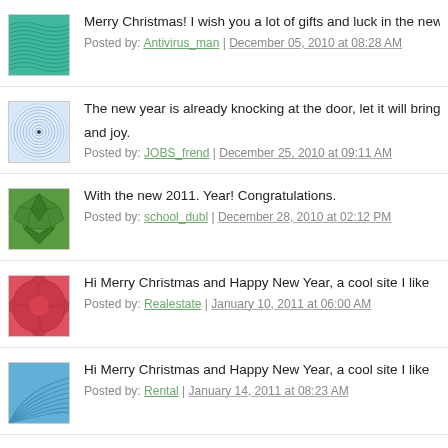Merry Christmas! I wish you a lot of gifts and luck in the new ye...
Posted by: Antivirus_man | December 05, 2010 at 08:28 AM
The new year is already knocking at the door, let it will bring on... and joy.
Posted by: JOBS_frend | December 25, 2010 at 09:11 AM
With the new 2011. Year! Congratulations.
Posted by: school_dubl | December 28, 2010 at 02:12 PM
Hi Merry Christmas and Happy New Year, a cool site I like
Posted by: Realestate | January 10, 2011 at 06:00 AM
Hi Merry Christmas and Happy New Year, a cool site I like
Posted by: Rental | January 14, 2011 at 08:23 AM
Interesting site, always a new topic .. good luck in the new 2011...